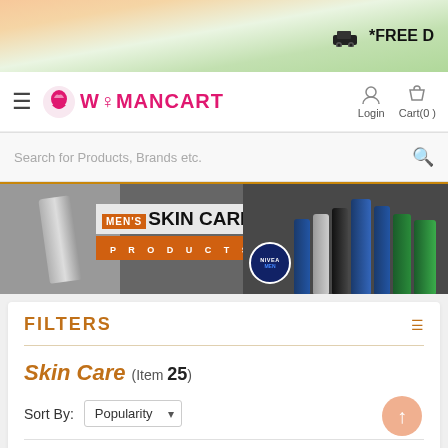*FREE D
[Figure (logo): WomanCart logo with hamburger menu, login and cart buttons]
Search for Products, Brands etc.
[Figure (photo): Men's Skin Care Products banner with Nivea and other grooming products]
FILTERS
Skin Care (Item 25)
Sort By: Popularity